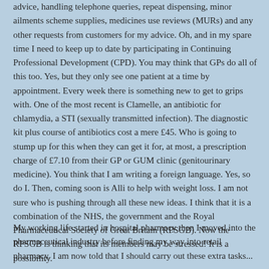advice, handling telephone queries, repeat dispensing, minor ailments scheme supplies, medicines use reviews (MURs) and any other requests from customers for my advice. Oh, and in my spare time I need to keep up to date by participating in Continuing Professional Development (CPD). You may think that GPs do all of this too. Yes, but they only see one patient at a time by appointment. Every week there is something new to get to grips with. One of the most recent is Clamelle, an antibiotic for chlamydia, a STI (sexually transmitted infection). The diagnostic kit plus course of antibiotics cost a mere £45. Who is going to stump up for this when they can get it for, at most, a prescription charge of £7.10 from their GP or GUM clinic (genitourinary medicine). You think that I am writing a foreign language. Yes, so do I. Then, coming soon is Alli to help with weight loss. I am not sure who is pushing through all these new ideas. I think that it is a combination of the NHS, the government and the Royal Pharmaceutical Society of Great Britain (RPSGB). Now the RPSGB is thinking that its members may be stressed! It is a possibility.
My working life started in hospital pharmacy then I moved into the pharmaceutical industry before finding my way into retail pharmacy. I am now told that I should carry out these extra tasks...